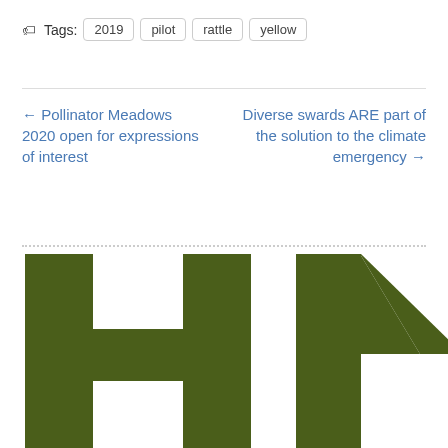Tags: 2019  pilot  rattle  yellow
← Pollinator Meadows 2020 open for expressions of interest
Diverse swards ARE part of the solution to the climate emergency →
[Figure (logo): Large green block letters 'HM' cropped, forming a logo on white background]